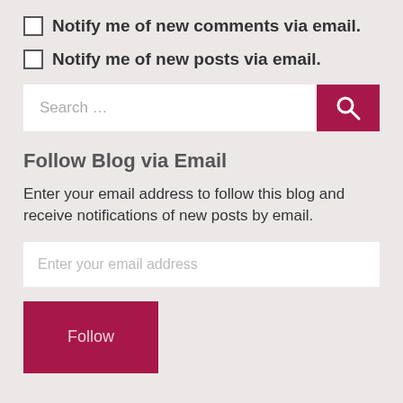Notify me of new comments via email.
Notify me of new posts via email.
[Figure (other): Search bar with text input field and crimson search button with magnifying glass icon]
Follow Blog via Email
Enter your email address to follow this blog and receive notifications of new posts by email.
[Figure (other): Email address input field with placeholder text 'Enter your email address']
Follow